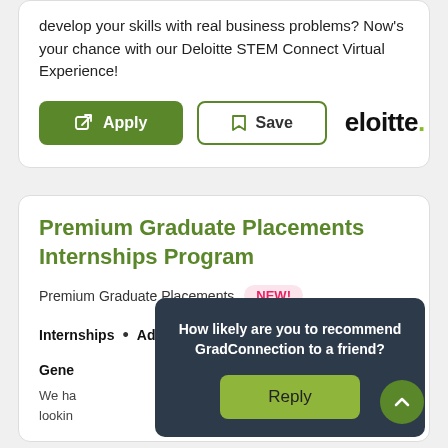develop your skills with real business problems? Now's your chance with our Deloitte STEM Connect Virtual Experience!
[Figure (screenshot): Apply button (green) and Save button (outline) with Deloitte logo]
Premium Graduate Placements Internships Program
Premium Graduate Placements  NEW!
Internships • Adelaide and 4 others
General
We ha... lookin... nce
[Figure (screenshot): Popup overlay asking: How likely are you to recommend GradConnection to a friend? with a Reply button]